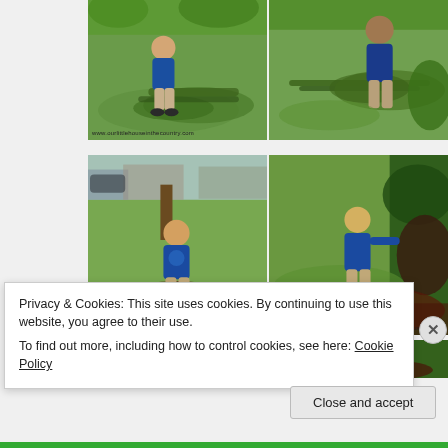[Figure (photo): Top row: two side-by-side photos of a young boy in a blue shirt playing outdoors on grass with cut branches and foliage. Watermark: www.ourlittlehouseinthecountry.com]
[Figure (photo): Middle row: two side-by-side photos of the same young boy in blue shirt playing in a garden with dark leafy branches on grass near a hedge. Watermark: www.ourlittlehouseinthecountry.com]
[Figure (photo): Bottom row (partially visible): two more photos of the boy in the garden.]
Privacy & Cookies: This site uses cookies. By continuing to use this website, you agree to their use.
To find out more, including how to control cookies, see here: Cookie Policy
Close and accept